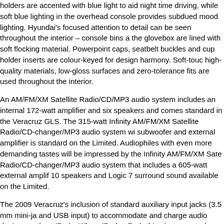holders are accented with blue light to aid night time driving, while soft blue lighting in the overhead console provides subdued mood lighting. Hyundai's focused attention to detail can be seen throughout the interior – console bins a the glovebox are lined with soft flocking material. Powerpoint caps, seatbelt buckles and cup holder inserts are colour-keyed for design harmony. Soft-touc high-quality materials, low-gloss surfaces and zero-tolerance fits are used throughout the interior.
An AM/FM/XM Satellite Radio/CD/MP3 audio system includes an internal 172-watt amplifier and six speakers and comes standard in the Veracruz GLS. The 315-watt Infinity AM/FM/XM Satellite Radio/CD-changer/MP3 audio system wi subwoofer and external amplifier is standard on the Limited. Audiophiles with even more demanding tastes will be impressed by the Infinity AM/FM/XM Sate Radio/CD-changer/MP3 audio system that includes a 605-watt external amplif 10 speakers and Logic 7 surround sound available on the Limited.
The 2009 Veracruz's inclusion of standard auxiliary input jacks (3.5 mm mini-ja and USB input) to accommodate and charge audio devices such as iPods. Wh an iPod or flash drive is connected through the USB port, which is located in a center console storage compartment, not only does it play music through the vehicle's audio system, but it also charges the iPod and allows the driver to access tracks with the steering wheel audio controls. This system also allows both driver and passengers to easily view song/artist/title information and cont